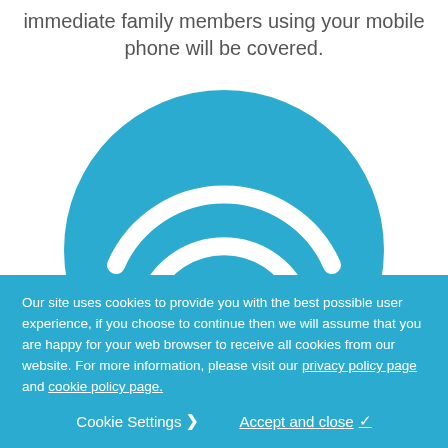immediate family members using your mobile phone will be covered.
[Figure (illustration): A large blue circle containing a white WiFi/signal arc icon with a house/home symbol at the bottom center, partially cropped at the bottom of the visible area.]
Our site uses cookies to provide you with the best possible user experience, if you choose to continue then we will assume that you are happy for your web browser to receive all cookies from our website. For more information, please visit our privacy policy page and cookie policy page.
Cookie Settings ❯  Accept and close ✓